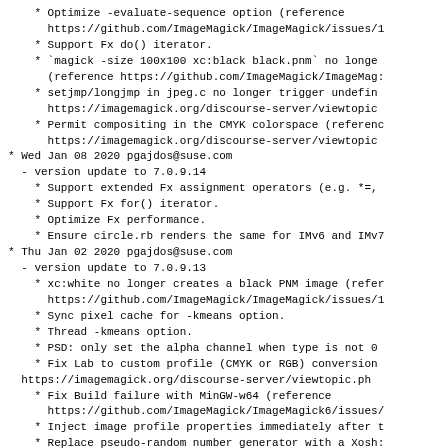* Optimize -evaluate-sequence option (reference https://github.com/ImageMagick/ImageMagick/issues/1
    * Support Fx do() iterator.
    * `magick -size 100x100 xc:black black.pnm` no longer (reference https://github.com/ImageMagick/ImageMag:
    * setjmp/longjmp in jpeg.c no longer trigger undefin https://imagemagick.org/discourse-server/viewtopic
    * Permit compositing in the CMYK colorspace (referenc https://imagemagick.org/discourse-server/viewtopic
* Wed Jan 08 2020 pgajdos@suse.com
  - version update to 7.0.9.14
    * Support extended Fx assignment operators (e.g. *=,
    * Support Fx for() iterator.
    * Optimize Fx performance.
    * Ensure circle.rb renders the same for IMv6 and IMv7
* Thu Jan 02 2020 pgajdos@suse.com
  - version update to 7.0.9.13
    * xc:white no longer creates a black PNM image (refer https://github.com/ImageMagick/ImageMagick/issues/1
    * Sync pixel cache for -kmeans option.
    * Thread -kmeans option.
    * PSD: only set the alpha channel when type is not 0
    * Fix Lab to custom profile (CMYK or RGB) conversion https://imagemagick.org/discourse-server/viewtopic.ph
    * Fix Build failure with MinGW-w64 (reference https://github.com/ImageMagick/ImageMagick6/issues/
    * Inject image profile properties immediately after t
    * Replace pseudo-random number generator with a Xosh:
    * The -layers optimize option requires a fully transp
    * Some clang releases do not support _aligned_alloc(